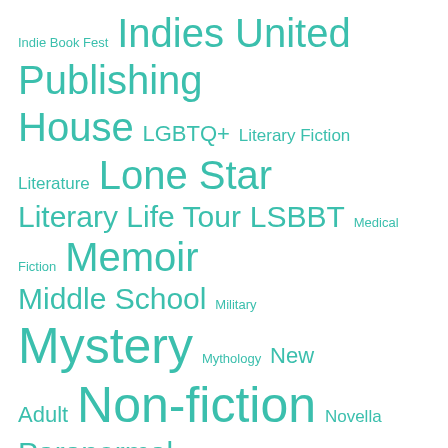[Figure (infographic): Word cloud with tags in teal/turquoise color on white background. Terms vary in size indicating frequency/weight. Terms include: Indie Book Fest, Indies United Publishing House, LGBTQ+, Literary Fiction, Literature, Lone Star Literary Life Tour, LSBBT, Medical Fiction, Memoir, Middle School, Military, Mystery, Mythology, New Adult, Non-fiction, Novella, Paranormal, Political, Realistic Fiction, Relationships, Religion, Romance, Science Fiction, Self Help, Series, Short Stories, Space Opera, Steampunk, Suspense, Teens, Texas, Texas Author, Texas History, Thriller, Time Travel, Travel, Urban Fantasy, Western, Women's Fiction, Women's History, Women's Lit, YA, YA Appropriate]